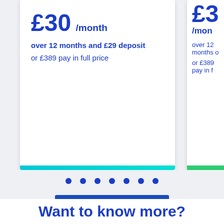£30 /month over 12 months and £29 deposit or £389 pay in full price
£30 /month over 12 months or £389 pay in f
[Figure (screenshot): Seven blue pagination dots in a row]
See all related courses
Want to know more?